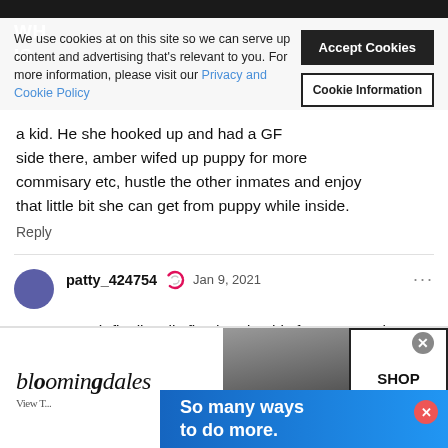We use cookies at on this site so we can serve up content and advertising that's relevant to you. For more information, please visit our Privacy and Cookie Policy
Accept Cookies
Cookie Information
a kid. He she hooked up and had a GF side there, amber wifed up puppy for more commisary etc, hustle the other inmates and enjoy that little bit she can get from puppy while inside.
Reply
patty_424754  Jan 9, 2021
Sarah finally tells five head to his face "u r a s h ! t father", finally!!!!
Reply
Load more comments
[Figure (screenshot): Bloomingdale's advertisement banner at the bottom with logo, model photo, shop now button, and 'So many ways to do more' blue banner overlay]